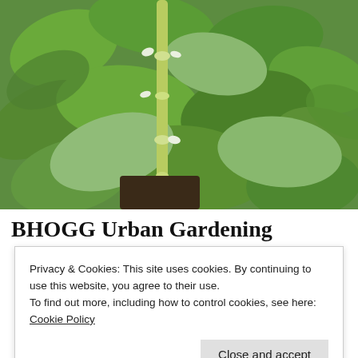[Figure (photo): Close-up photo of green leafy plants with a yellow-green stem and small white flowers, garden setting]
BHOGG Urban Gardening
Privacy & Cookies: This site uses cookies. By continuing to use this website, you agree to their use.
To find out more, including how to control cookies, see here: Cookie Policy
Close and accept